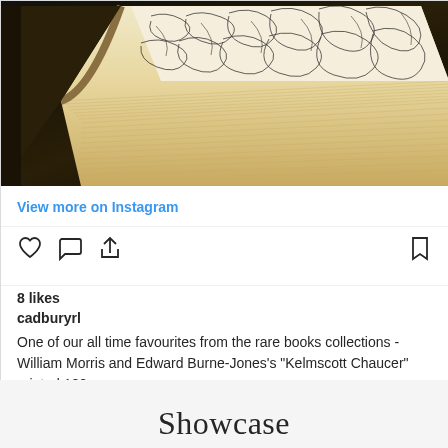[Figure (photo): Open decorative book with ornate black and white floral patterns on its pages, shown from above against a dark background — appears to be the Kelmscott Chaucer]
View more on Instagram
8 likes
cadburyrl
One of our all time favourites from the rare books collections - William Morris and Edward Burne-Jones's "Kelmscott Chaucer" printed 120 years ago.
Add a comment...
Showcase